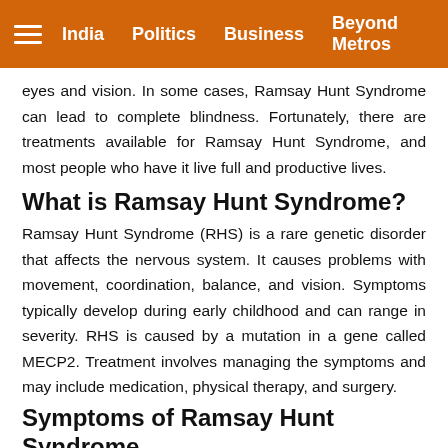India   Politics   Business   Beyond Metros
eyes and vision. In some cases, Ramsay Hunt Syndrome can lead to complete blindness. Fortunately, there are treatments available for Ramsay Hunt Syndrome, and most people who have it live full and productive lives.
What is Ramsay Hunt Syndrome?
Ramsay Hunt Syndrome (RHS) is a rare genetic disorder that affects the nervous system. It causes problems with movement, coordination, balance, and vision. Symptoms typically develop during early childhood and can range in severity. RHS is caused by a mutation in a gene called MECP2. Treatment involves managing the symptoms and may include medication, physical therapy, and surgery.
Symptoms of Ramsay Hunt Syndrome